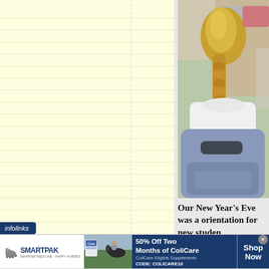[Figure (photo): Yellow lined notepad background on left side of page]
[Figure (photo): Photo of a girl with a blonde braid sitting in a blue plastic chair, viewed from behind, in a classroom setting]
Our New Year's Eve was a orientation for new studen
[Figure (infographic): Infolinks advertisement banner featuring SmartPak logo, horse and rider product image, 50% Off Two Months of ColiCare offer, ColiCare Eligible Supplements, CODE: COLICARE10, and Shop Now button]